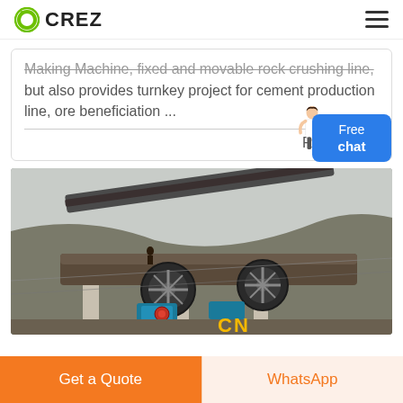CREZ
Making Machine, fixed and movable rock crushing line, but also provides turnkey project for cement production line, ore beneficiation ...
Read Mo...
[Figure (photo): Industrial mining/sand washing machine equipment at a quarry site with large wheel mechanisms and conveyor belts, with 'CN' text visible at the bottom]
Free chat
Get a Quote
WhatsApp